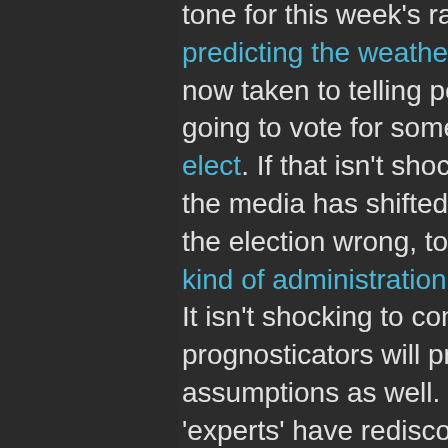tone for this week's radio show. Not content with predicting the weather incorrectly, the media has now taken to telling people the Electoral College is going to vote for someone other than the president elect. If that isn't shocking enough, look how quickly the media has shifted from getting the outcome of the election wrong, to telling everyone just what kind of administration the president-elect will have. It isn't shocking to conclude most of the pundits and prognosticators will probably be wrong in these new assumptions as well. Suddenly the so called 'experts' have rediscovered the Electoral College in the United States. Since we don't report on news, or report on issues anymore the Electoral College has now become the dark and sinister force that is about to put the 'wrong'